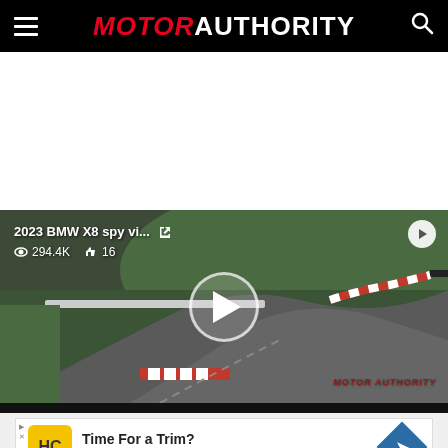MOTOR AUTHORITY
[Figure (screenshot): Video thumbnail showing a BMW X8 spy video on a race track (Nurburgring). Title overlay reads '2023 BMW X8 spy vi...' with view count 294.4K and likes 16. A large play button is centered on the image. Watermark reads 'MOTOR AUTHORITY'.]
[Figure (photo): Advertisement banner for Hair Cuttery with text 'Time For a Trim?' and 'Hair Cuttery', featuring the HC logo in yellow and a blue diamond-shaped arrow icon.]